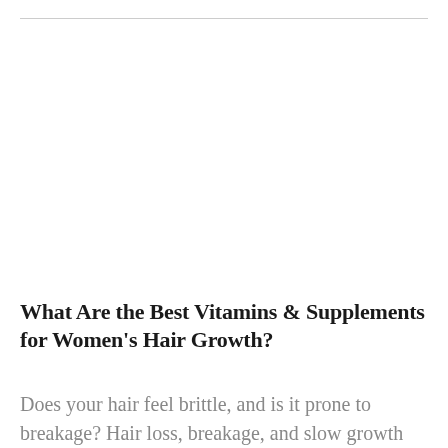What Are the Best Vitamins & Supplements for Women's Hair Growth?
Does your hair feel brittle, and is it prone to breakage? Hair loss, breakage, and slow growth